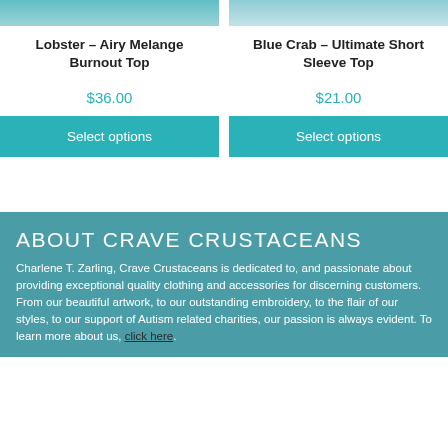[Figure (photo): Product image top strip - Lobster Airy Melange Burnout Top]
[Figure (photo): Product image top strip - Blue Crab Ultimate Short Sleeve Top]
Lobster – Airy Melange Burnout Top
Blue Crab – Ultimate Short Sleeve Top
$36.00
$21.00
Select options
Select options
ABOUT CRAVE CRUSTACEANS
Charlene T. Zarling, Crave Crustaceans is dedicated to, and passionate about providing exceptional quality clothing and accessories for discerning customers. From our beautiful artwork, to our outstanding embroidery, to the flair of our styles, to our support of Autism related charities, our passion is always evident. To learn more about us, click here.